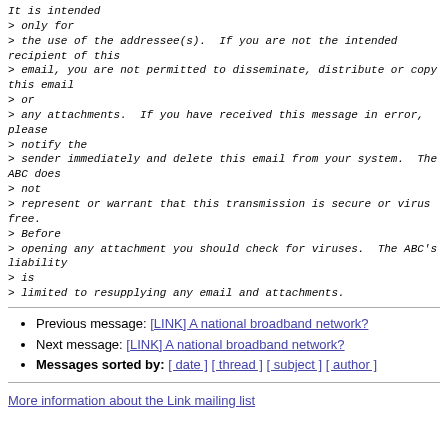It is intended
> only for
> the use of the addressee(s).  If you are not the intended recipient of this
> email, you are not permitted to disseminate, distribute or copy this email
> or
> any attachments.  If you have received this message in error, please
> notify the
> sender immediately and delete this email from your system.  The ABC does
> not
> represent or warrant that this transmission is secure or virus free.
> Before
> opening any attachment you should check for viruses.  The ABC's liability
> is
> limited to resupplying any email and attachments.
Previous message: [LINK] A national broadband network?
Next message: [LINK] A national broadband network?
Messages sorted by: [ date ] [ thread ] [ subject ] [ author ]
More information about the Link mailing list